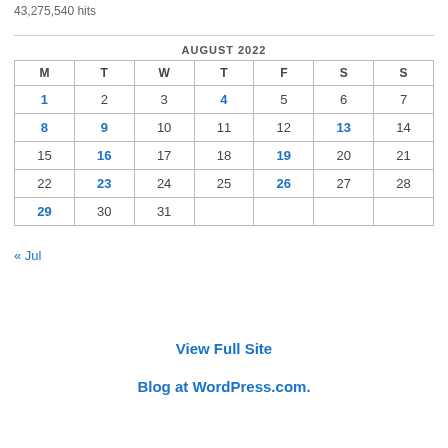43,275,540 hits
| M | T | W | T | F | S | S |
| --- | --- | --- | --- | --- | --- | --- |
| 1 | 2 | 3 | 4 | 5 | 6 | 7 |
| 8 | 9 | 10 | 11 | 12 | 13 | 14 |
| 15 | 16 | 17 | 18 | 19 | 20 | 21 |
| 22 | 23 | 24 | 25 | 26 | 27 | 28 |
| 29 | 30 | 31 |  |  |  |  |
« Jul
View Full Site
Blog at WordPress.com.